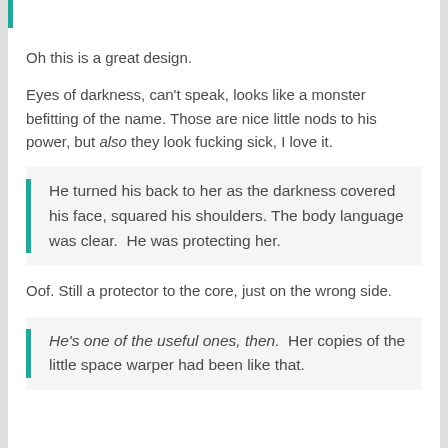Oh this is a great design.
Eyes of darkness, can't speak, looks like a monster befitting of the name. Those are nice little nods to his power, but also they look fucking sick, I love it.
He turned his back to her as the darkness covered his face, squared his shoulders. The body language was clear. He was protecting her.
Oof. Still a protector to the core, just on the wrong side.
He's one of the useful ones, then. Her copies of the little space warper had been like that.